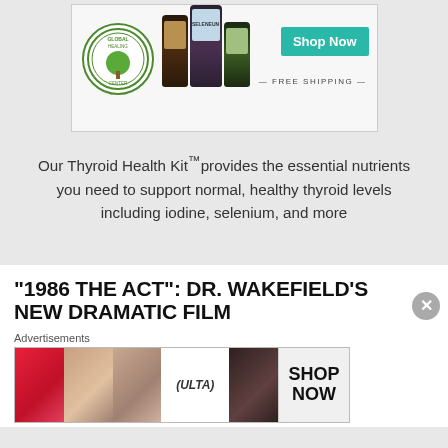[Figure (illustration): Global Healing Center advertisement banner showing supplement bottles with SELENEUN label, Global Healing Center circular logo, teal Shop Now button, and FREE SHIPPING text below]
Our Thyroid Health Kit™ provides the essential nutrients you need to support normal, healthy thyroid levels including iodine, selenium, and more
“1986 THE ACT”: DR. WAKEFIELD’S NEW DRAMATIC FILM
Advertisements
[Figure (illustration): Ulta beauty advertisement strip showing makeup imagery: lips with red lipstick, makeup brush, eye close-up, Ulta logo, smoky eye makeup, with SHOP NOW button on right]